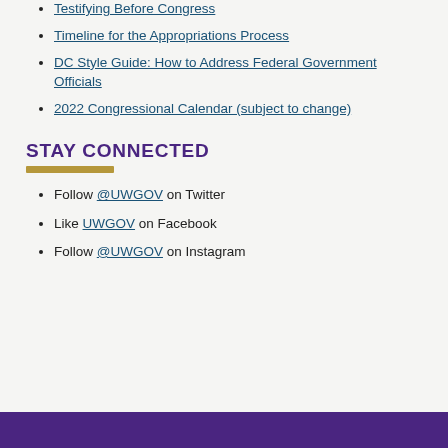Testifying Before Congress
Timeline for the Appropriations Process
DC Style Guide: How to Address Federal Government Officials
2022 Congressional Calendar (subject to change)
STAY CONNECTED
Follow @UWGOV on Twitter
Like UWGOV on Facebook
Follow @UWGOV on Instagram